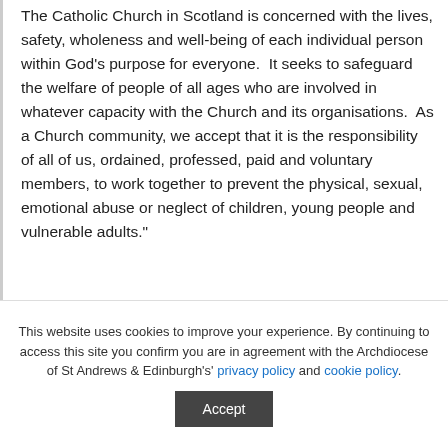The Catholic Church in Scotland is concerned with the lives, safety, wholeness and well-being of each individual person within God's purpose for everyone.  It seeks to safeguard the welfare of people of all ages who are involved in whatever capacity with the Church and its organisations.  As a Church community, we accept that it is the responsibility of all of us, ordained, professed, paid and voluntary members, to work together to prevent the physical, sexual, emotional abuse or neglect of children, young people and vulnerable adults."
This website uses cookies to improve your experience. By continuing to access this site you confirm you are in agreement with the Archdiocese of St Andrews & Edinburgh's' privacy policy and cookie policy.